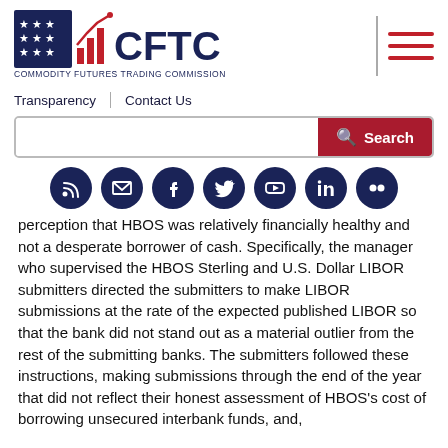[Figure (logo): CFTC logo — Commodity Futures Trading Commission with stars-and-bars emblem and bar/line chart icon]
[Figure (infographic): Hamburger menu icon (three horizontal red lines) with vertical separator bar on the left]
Transparency | Contact Us
[Figure (screenshot): Search bar with red Search button]
[Figure (infographic): Row of 7 social media icon circles: RSS, Email, Facebook, Twitter, YouTube, LinkedIn, Flickr]
perception that HBOS was relatively financially healthy and not a desperate borrower of cash. Specifically, the manager who supervised the HBOS Sterling and U.S. Dollar LIBOR submitters directed the submitters to make LIBOR submissions at the rate of the expected published LIBOR so that the bank did not stand out as a material outlier from the rest of the submitting banks. The submitters followed these instructions, making submissions through the end of the year that did not reflect their honest assessment of HBOS's cost of borrowing unsecured interbank funds, and,